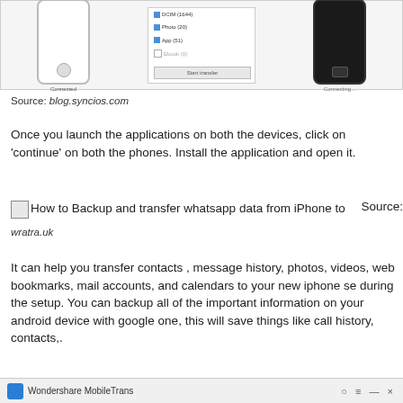[Figure (screenshot): Screenshot of a phone transfer application showing two phones (one white labeled 'Connected', one black labeled 'Connecting...') with a middle panel containing checkboxes for DCIM (1644), Photo (20), App (51), Ebook (0), and a 'Start transfer' button]
Source: blog.syncios.com
Once you launch the applications on both the devices, click on 'continue' on both the phones. Install the application and open it.
[Figure (screenshot): Broken image placeholder for 'How to Backup and transfer whatsapp data from iPhone to' with inline source label]
Source: wratra.uk
It can help you transfer contacts , message history, photos, videos, web bookmarks, mail accounts, and calendars to your new iphone se during the setup. You can backup all of the important information on your android device with google one, this will save things like call history, contacts,.
[Figure (screenshot): Bottom toolbar showing Wondershare MobileTrans application bar with window controls]